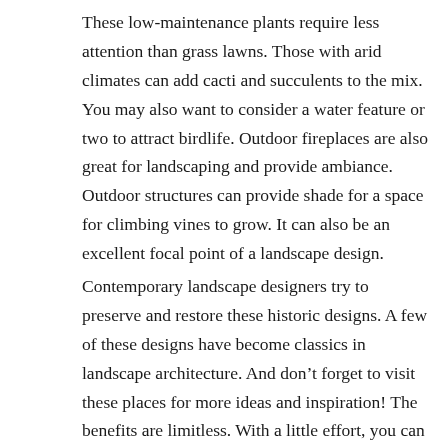These low-maintenance plants require less attention than grass lawns. Those with arid climates can add cacti and succulents to the mix. You may also want to consider a water feature or two to attract birdlife. Outdoor fireplaces are also great for landscaping and provide ambiance. Outdoor structures can provide shade for a space for climbing vines to grow. It can also be an excellent focal point of a landscape design.
Contemporary landscape designers try to preserve and restore these historic designs. A few of these designs have become classics in landscape architecture. And don't forget to visit these places for more ideas and inspiration! The benefits are limitless. With a little effort, you can create an attractive landscape that will compliment your home. And the process won't cost you a penny.